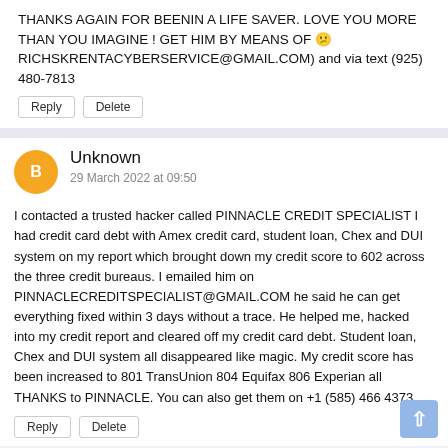THANKS AGAIN FOR BEENIN A LIFE SAVER. LOVE YOU MORE THAN YOU IMAGINE ! GET HIM BY MEANS OF 😕 RICHSKRENTACYBERSERVICE@GMAIL.COM) and via text (925) 480-7813
Reply
Delete
Unknown
29 March 2022 at 09:50
I contacted a trusted hacker called PINNACLE CREDIT SPECIALIST I had credit card debt with Amex credit card, student loan, Chex and DUI system on my report which brought down my credit score to 602 across the three credit bureaus. I emailed him on PINNACLECREDITSPECIALIST@GMAIL.COM he said he can get everything fixed within 3 days without a trace. He helped me, hacked into my credit report and cleared off my credit card debt. Student loan, Chex and DUI system all disappeared like magic. My credit score has been increased to 801 TransUnion 804 Equifax 806 Experian all THANKS to PINNACLE. You can also get them on +1 (585) 466 4373.
Reply
Delete